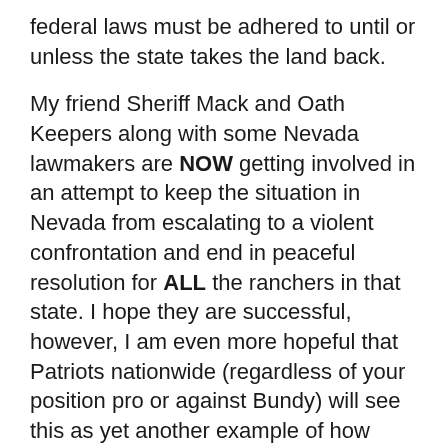federal laws must be adhered to until or unless the state takes the land back.
My friend Sheriff Mack and Oath Keepers along with some Nevada lawmakers are NOW getting involved in an attempt to keep the situation in Nevada from escalating to a violent confrontation and end in peaceful resolution for ALL the ranchers in that state. I hope they are successful, however, I am even more hopeful that Patriots nationwide (regardless of your position pro or against Bundy) will see this as yet another example of how federal control over state's land and business is a recipe for disaster and begin the process of being pro-active rather than reactive on the issue of state's rights and sovereignty.
10th Amendment Resolutions
In 2009-2010 thirty eight states have introduced resolutions to reaffirm the principles of sovereignty under the Constitution and the 10th Amendment of the